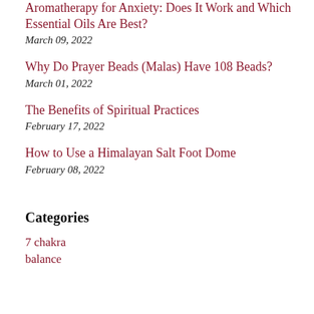Aromatherapy for Anxiety: Does It Work and Which Essential Oils Are Best?
March 09, 2022
Why Do Prayer Beads (Malas) Have 108 Beads?
March 01, 2022
The Benefits of Spiritual Practices
February 17, 2022
How to Use a Himalayan Salt Foot Dome
February 08, 2022
Categories
7 chakra
balance